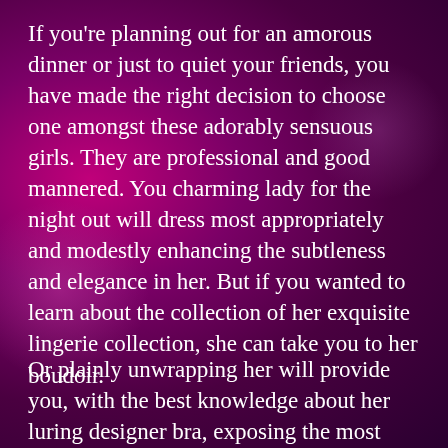If you're planning out for an amorous dinner or just to quiet your friends, you have made the right decision to choose one amongst these adorably sensuous girls. They are professional and good mannered. You charming lady for the night out will dress most appropriately and modestly enhancing the subtleness and elegance in her. But if you wanted to learn about the collection of her exquisite lingerie collection, she can take you to her boudoir.
Or plainly unwrapping her will provide you, with the best knowledge about her luring designer bra, exposing the most soft succulent